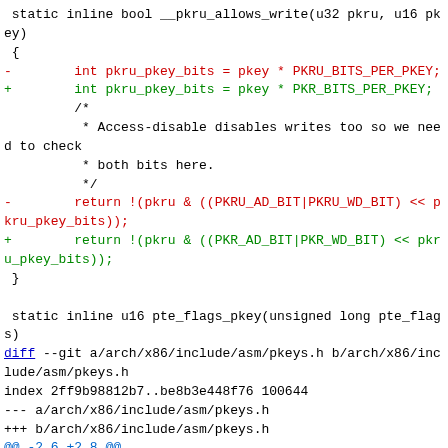static inline bool __pkru_allows_write(u32 pkru, u16 pkey)
 {
-        int pkru_pkey_bits = pkey * PKRU_BITS_PER_PKEY;
+        int pkru_pkey_bits = pkey * PKR_BITS_PER_PKEY;
         /*
          * Access-disable disables writes too so we need to check
          * both bits here.
          */
-        return !(pkru & ((PKRU_AD_BIT|PKRU_WD_BIT) << pkru_pkey_bits));
+        return !(pkru & ((PKR_AD_BIT|PKR_WD_BIT) << pkru_pkey_bits));
 }

 static inline u16 pte_flags_pkey(unsigned long pte_flags)
diff --git a/arch/x86/include/asm/pkeys.h b/arch/x86/include/asm/pkeys.h
index 2ff9b98812b7..be8b3e448f76 100644
--- a/arch/x86/include/asm/pkeys.h
+++ b/arch/x86/include/asm/pkeys.h
@@ -2,6 +2,8 @@
 #ifndef _ASM_X86_PKEYS_H
 #define _ASM_X86_PKEYS_H

+#include <asm/pkeys_internal.h>
+